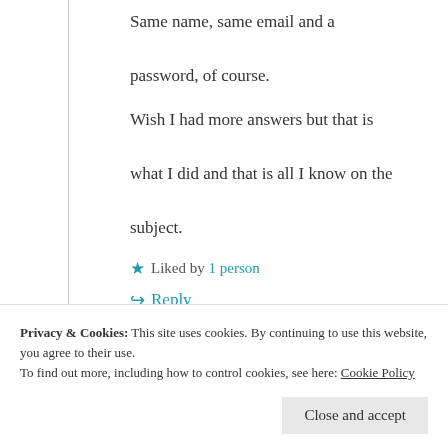Same name, same email and a password, of course.
Wish I had more answers but that is what I did and that is all I know on the subject.
★ Liked by 1 person
↳ Reply
Privacy & Cookies: This site uses cookies. By continuing to use this website, you agree to their use.
To find out more, including how to control cookies, see here: Cookie Policy
Close and accept